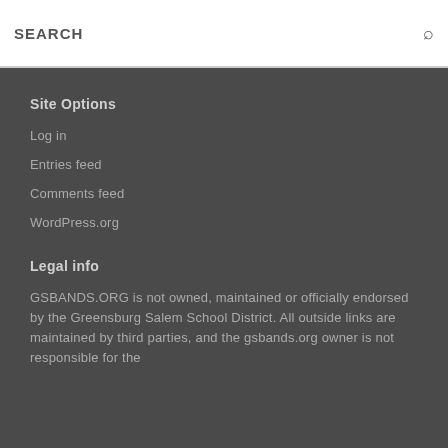SEARCH
Site Options
Log in
Entries feed
Comments feed
WordPress.org
Legal info
GSBANDS.ORG is not owned, maintained or officially endorsed by the Greensburg Salem School District. All outside links are maintained by third parties, and the gsbands.org owner is not responsible for the